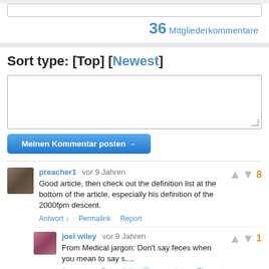36 Mitgliederkommentare
Sort type: [Top] [Newest]
Meinen Kommentar posten →
preacher1  vor 9 Jahren
Good article, then check out the definition list at the bottom of the article, especially his definition of the 2000fpm descent.
Antwort ↓ · Permalink · Report
joel wiley  vor 9 Jahren
From Medical jargon: Don't say feces when you mean to say s....
Antwort ↓ · Permalink · Übergeordnetes Element · Report